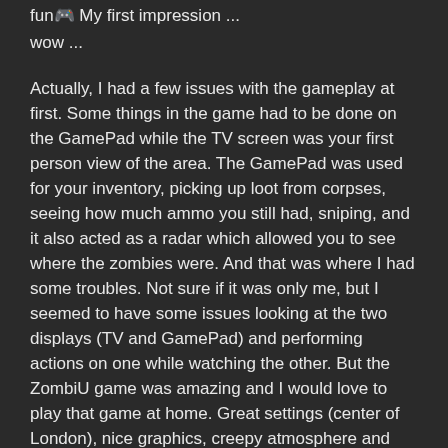fun 🎮 My first impression ...
wow ...
Actually, I had a few issues with the gameplay at first. Some things in the game had to be done on the GamePad while the TV screen was your first person view of the area. The GamePad was used for your inventory, picking up loot from corpses, seeing how much ammo you still had, sniping, and it also acted as a radar which allowed you to see where the zombies were. And that was where I had some troubles. Not sure if it was only me, but I seemed to have some issues looking at the two displays (TV and GamePad) and performing actions on one while watching the other. But the ZombiU game was amazing and I would love to play that game at home. Great settings (center of London), nice graphics, creepy atmosphere and lots of zombies to kill ... what could be more fun.